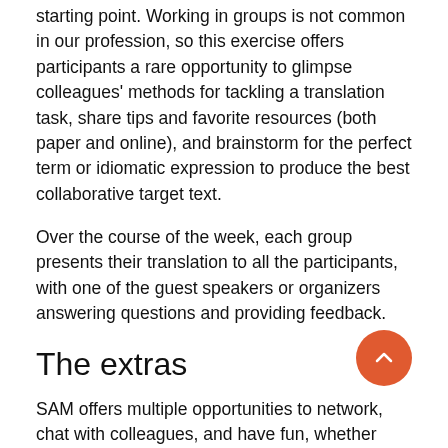starting point. Working in groups is not common in our profession, so this exercise offers participants a rare opportunity to glimpse colleagues' methods for tackling a translation task, share tips and favorite resources (both paper and online), and brainstorm for the perfect term or idiomatic expression to produce the best collaborative target text.
Over the course of the week, each group presents their translation to all the participants, with one of the guest speakers or organizers answering questions and providing feedback.
The extras
SAM offers multiple opportunities to network, chat with colleagues, and have fun, whether during the coffee breaks, over lunch at one of the nearby restaurants, or while attending the specially organized gourmet dinner. In 2018, attendees also enjoyed a guided tour of the fascinating